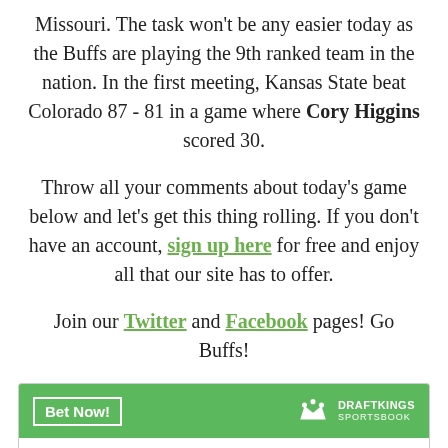Missouri. The task won't be any easier today as the Buffs are playing the 9th ranked team in the nation. In the first meeting, Kansas State beat Colorado 87 - 81 in a game where Cory Higgins scored 30.
Throw all your comments about today's game below and let's get this thing rolling. If you don't have an account, sign up here for free and enjoy all that our site has to offer.
Join our Twitter and Facebook pages! Go Buffs!
| Alex Fontenot |
| O/U Rushing Yards (vs. TCU) | 52.5 |